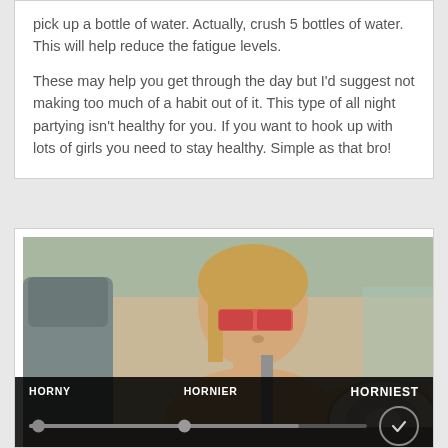pick up a bottle of water. Actually, crush 5 bottles of water. This will help reduce the fatigue levels.

These may help you get through the day but I'd suggest not making too much of a habit out of it. This type of all night partying isn't healthy for you. If you want to hook up with lots of girls you need to stay healthy. Simple as that bro!
[Figure (photo): Photo of a person sitting in a car driver seat wearing sunglasses, with a slider UI overlay at the bottom showing HORNY, HORNIER, HORNIEST labels and a checkmark button]